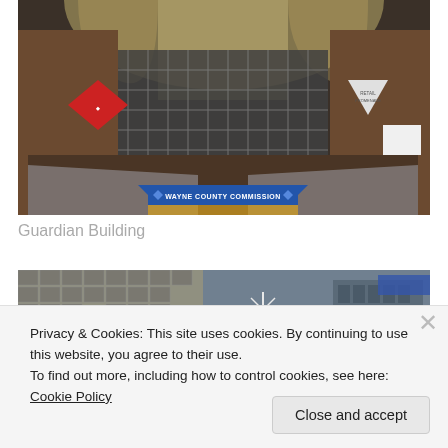[Figure (photo): Interior of the Guardian Building showing ornate gothic arches, metal lattice gate doors, grand staircase with marble balustrade, Wayne County Commission sign, and decorative red and white diamond-shaped signs on columns]
Guardian Building
[Figure (photo): Two partially visible photos of the Guardian Building exterior — left showing close-up facade details, right showing the building's upper floors and nearby buildings]
Privacy & Cookies: This site uses cookies. By continuing to use this website, you agree to their use.
To find out more, including how to control cookies, see here: Cookie Policy
Close and accept